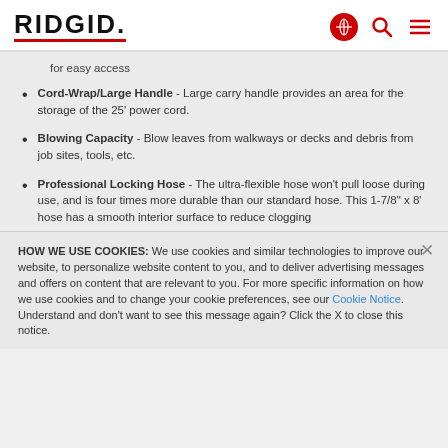RIDGID
for easy access
Cord-Wrap/Large Handle - Large carry handle provides an area for the storage of the 25' power cord.
Blowing Capacity - Blow leaves from walkways or decks and debris from job sites, tools, etc.
Professional Locking Hose - The ultra-flexible hose won't pull loose during use, and is four times more durable than our standard hose. This 1-7/8" x 8' hose has a smooth interior surface to reduce clogging
HOW WE USE COOKIES: We use cookies and similar technologies to improve our website, to personalize website content to you, and to deliver advertising messages and offers on content that are relevant to you. For more specific information on how we use cookies and to change your cookie preferences, see our Cookie Notice. Understand and don't want to see this message again? Click the X to close this notice.